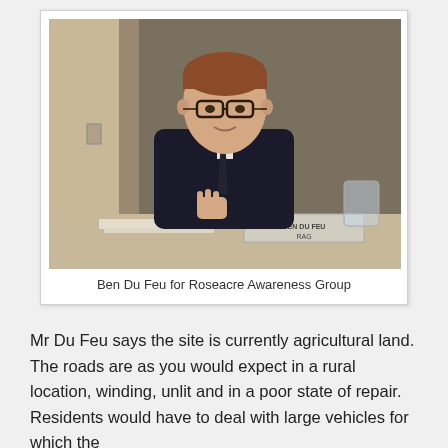[Figure (photo): A man wearing glasses and a dark suit sitting at a table with a microphone and a nameplate reading BEN DU FEU RAG, with a glass of water visible.]
Ben Du Feu for Roseacre Awareness Group
Mr Du Feu says the site is currently agricultural land. The roads are as you would expect in a rural location, winding, unlit and in a poor state of repair.  Residents would have to deal with large vehicles for which the